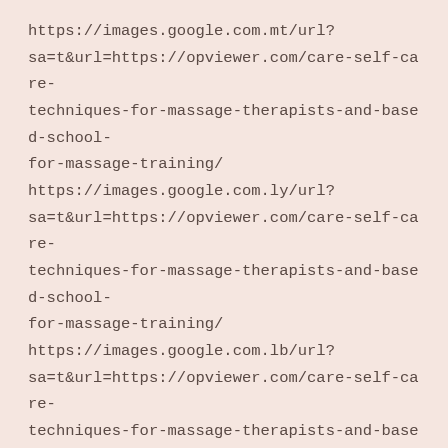https://images.google.com.mt/url?sa=t&url=https://opviewer.com/care-self-care-techniques-for-massage-therapists-and-based-school-for-massage-training/
https://images.google.com.ly/url?sa=t&url=https://opviewer.com/care-self-care-techniques-for-massage-therapists-and-based-school-for-massage-training/
https://images.google.com.lb/url?sa=t&url=https://opviewer.com/care-self-care-techniques-for-massage-therapists-and-based-school-for-massage-training/
https://images.google.com.kw/url?sa=t&url=https://opviewer.com/care-self-care-techniques-for-massage-therapists-and-based-school-for-massage-training/
https://images.google.com.kh/url?